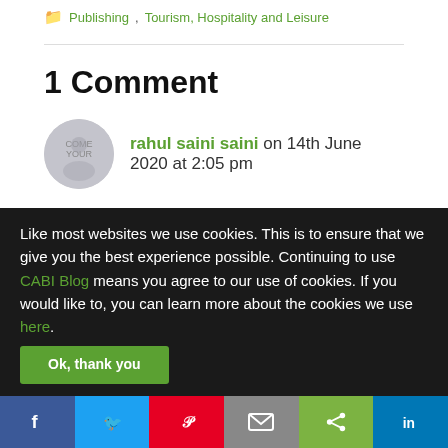Publishing, Tourism, Hospitality and Leisure
1 Comment
rahul saini saini on 14th June 2020 at 2:05 pm
nice blog yes there are the impact of covid 19 on tourism but
Like most websites we use cookies. This is to ensure that we give you the best experience possible. Continuing to use CABI Blog means you agree to our use of cookies. If you would like to, you can learn more about the cookies we use here.